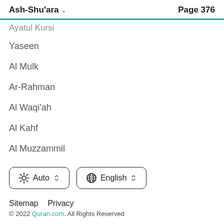Ash-Shu'ara  Page 376
Ayatul Kursi
Yaseen
Al Mulk
Ar-Rahman
Al Waqi'ah
Al Kahf
Al Muzzammil
Auto  English
Sitemap  Privacy
© 2022 Quran.com. All Rights Reserved